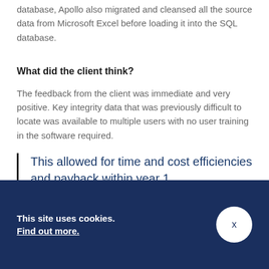database, Apollo also migrated and cleansed all the source data from Microsoft Excel before loading it into the SQL database.
What did the client think?
The feedback from the client was immediate and very positive. Key integrity data that was previously difficult to locate was available to multiple users with no user training in the software required.
This allowed for time and cost efficiencies and payback within year 1.
This site uses cookies. Find out more.